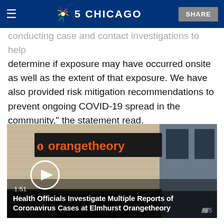NBC 5 CHICAGO
conducting case and contact investigations to help determine if exposure may have occurred onsite as well as the extent of that exposure. We have also provided risk mitigation recommendations to prevent ongoing COVID-19 spread in the community," the statement read.
[Figure (screenshot): Video thumbnail showing exterior of Orangetheory Fitness building with play button overlay. Duration 1:51. Caption: Health Officials Investigate Multiple Reports of Coronavirus Cases at Elmhurst Orangetheory]
1:51
Health Officials Investigate Multiple Reports of Coronavirus Cases at Elmhurst Orangetheory
The DuPage County Health Department said it received multiple reports of coronavirus cases linked to an Orangetheory Fitness